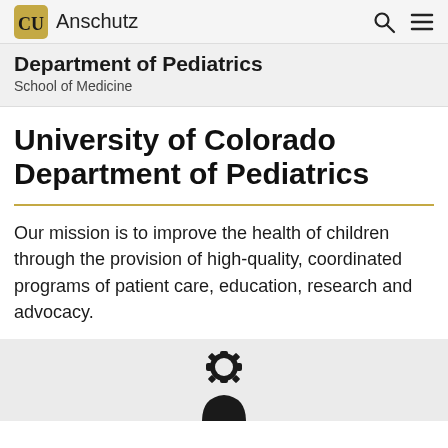CU Anschutz
Department of Pediatrics
School of Medicine
University of Colorado Department of Pediatrics
Our mission is to improve the health of children through the provision of high-quality, coordinated programs of patient care, education, research and advocacy.
[Figure (illustration): Partial view of a person icon/avatar graphic on a gray background]